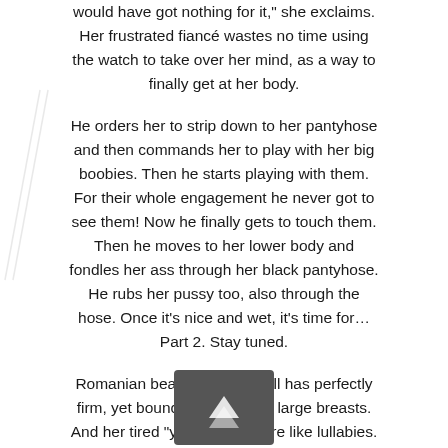would have got nothing for it," she exclaims. Her frustrated fiancé wastes no time using the watch to take over her mind, as a way to finally get at her body.
He orders her to strip down to her pantyhose and then commands her to play with her big boobies. Then he starts playing with them. For their whole engagement he never got to see them! Now he finally gets to touch them. Then he moves to her lower body and fondles her ass through her black pantyhose. He rubs her pussy too, also through the hose. Once it's nice and wet, it's time for… Part 2. Stay tuned.
Romanian beauty Cinthia Doll has perfectly firm, yet bouncy and squishy large breasts. And her tired "yes masters" are like lullabies.
Part 2
Gold digging Cinthia and her large, Lucious breasts are now under the control of her fiancé Steve thanks to the family heirloom he